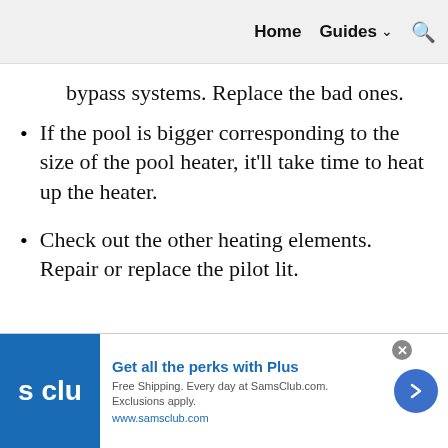Home   Guides ∨   🔍
bypass systems. Replace the bad ones.
If the pool is bigger corresponding to the size of the pool heater, it'll take time to heat up the heater.
Check out the other heating elements. Repair or replace the pilot lit.
[Figure (infographic): Sam's Club advertisement banner: blue logo with 's clu' text, headline 'Get all the perks with Plus', body text 'Free Shipping. Every day at SamsClub.com. Exclusions apply.', URL 'www.samsclub.com', close button, and blue circular arrow button]